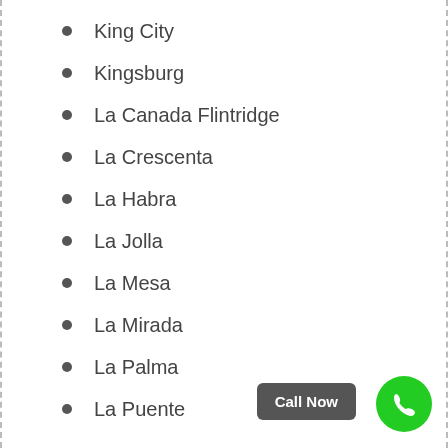King City
Kingsburg
La Canada Flintridge
La Crescenta
La Habra
La Jolla
La Mesa
La Mirada
La Palma
La Puente